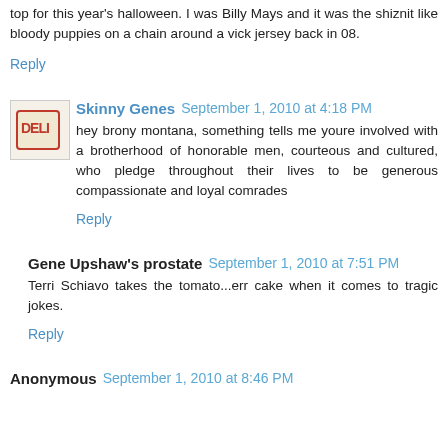top for this year's halloween. I was Billy Mays and it was the shiznit like bloody puppies on a chain around a vick jersey back in 08.
Reply
Skinny Genes  September 1, 2010 at 4:18 PM
hey brony montana, something tells me youre involved with a brotherhood of honorable men, courteous and cultured, who pledge throughout their lives to be generous compassionate and loyal comrades
Reply
Gene Upshaw's prostate  September 1, 2010 at 7:51 PM
Terri Schiavo takes the tomato...err cake when it comes to tragic jokes.
Reply
Anonymous  September 1, 2010 at 8:46 PM